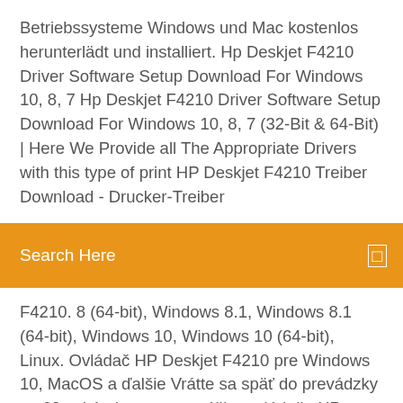Betriebssysteme Windows und Mac kostenlos herunterlädt und installiert. Hp Deskjet F4210 Driver Software Setup Download For Windows 10, 8, 7 Hp Deskjet F4210 Driver Software Setup Download For Windows 10, 8, 7 (32-Bit & 64-Bit) | Here We Provide all The Appropriate Drivers with this type of print HP Deskjet F4210 Treiber Download - Drucker-Treiber
Search Here
F4210. 8 (64-bit), Windows 8.1, Windows 8.1 (64-bit), Windows 10, Windows 10 (64-bit), Linux. Ovládač HP Deskjet F4210 pre Windows 10, MacOS a ďalšie Vrátte sa späť do prevádzky za 60 sekúnd pomocou nášho ovládača HP Deskjet F4210 v systéme Windows 10, MacOS Catalina a ďalších VueScan opravuje  HP Deskjet F4200 Driver for Windows 10, macOS & more VueScan is the best way to get your HP Deskjet F4200 working on Windows 10, Windows 8, Windows 7, macOS Catalina, and more. See why over 10 million  Ink Cartridges HP 60 for Deskjet F4210